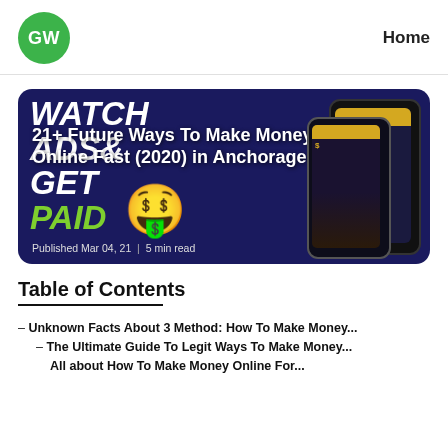GW | Home
[Figure (screenshot): Hero image with dark blue background showing 'WATCH ADS & GET PAID' text, a money-face emoji, and smartphone app screenshots. Overlaid title: '21+ Future Ways To Make Money Online Fast (2020) in Anchorage'. Published Mar 04, 21 | 5 min read]
Table of Contents
– Unknown Facts About 3 Method: How To Make Money...
– The Ultimate Guide To Legit Ways To Make Money...
– All about How To Make Money Online For...